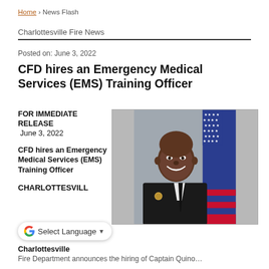Home › News Flash
Charlottesville Fire News
Posted on: June 3, 2022
CFD hires an Emergency Medical Services (EMS) Training Officer
FOR IMMEDIATE RELEASE
June 3, 2022

CFD hires an Emergency Medical Services (EMS) Training Officer
[Figure (photo): Portrait photo of a Black male firefighter officer in dark dress uniform with gold badge, smiling, with an American flag in the background on a gray studio backdrop.]
CHARLOTTESVILL
Charlottesville Fire Department announces the hiring of Captain Quinn…